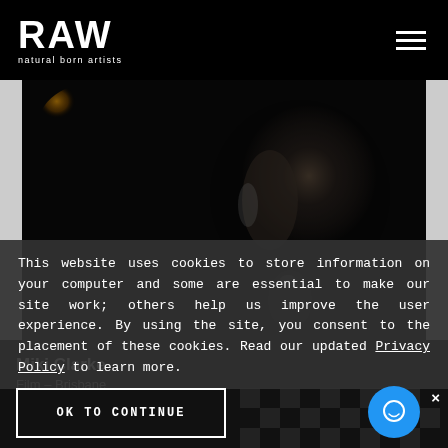RAW natural born artists
[Figure (photo): Close-up dark photo of a person's face in profile, with a warm golden orb (possibly a candle or light) visible in the upper left. The face is lit dramatically against a very dark background.]
This website uses cookies to store information on your computer and some are essential to make our site work; others help us improve the user experience. By using the site, you consent to the placement of these cookies. Read our updated Privacy Policy to learn more.
Miki Clarke
Film – Brisbane
OK TO CONTINUE
[Figure (photo): Dark checkered/abstract pattern at the bottom of the page]